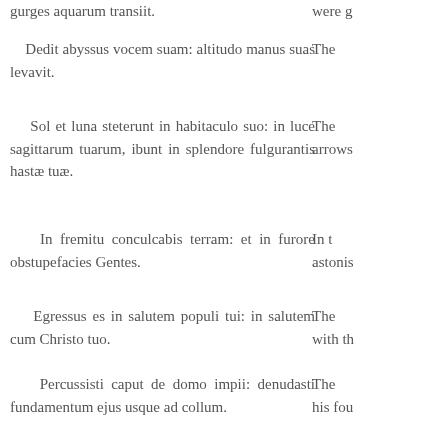gurges aquarum transiit.
were g
Dedit abyssus vocem suam: altitudo manus suas levavit.
The
Sol et luna steterunt in habitaculo suo: in luce sagittarum tuarum, ibunt in splendore fulgurantis hastæ tuæ.
The arrows
In fremitu conculcabis terram: et in furore obstupefacies Gentes.
In t astonis
Egressus es in salutem populi tui: in salutem cum Christo tuo.
The with th
Percussisti caput de domo impii: denudasti fundamentum ejus usque ad collum.
The his fou
Maledixisti sceptris ejus, capiti bellatorum ejus: venientibus ut turbo ad dispergendum me.
The out as a
Exsultatio eorum: sicut ejus qui devorat pauperem in
The